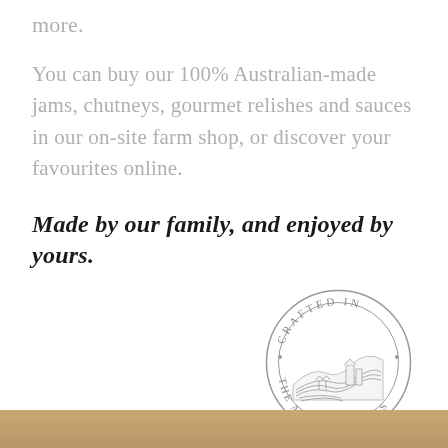more.
You can buy our 100% Australian-made jams, chutneys, gourmet relishes and sauces in our on-site farm shop, or discover your favourites online.
Made by our family, and enjoyed by yours.
[Figure (logo): Circular stamp logo reading 'CRAFTED IN THE ADELAIDE HILLS' with a farm landscape illustration in the center]
[Figure (photo): Bottom strip showing a warm brown/golden background, appears to be a partial photo]